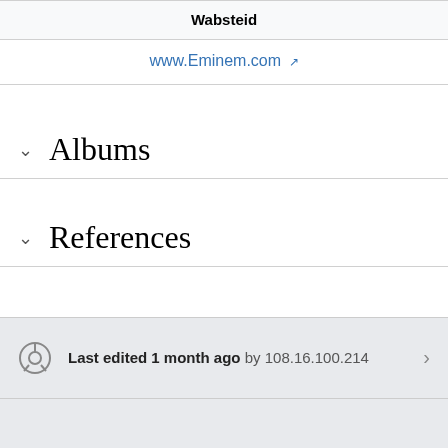| Wabsteid |
| --- |
| www.Eminem.com ↗ |
Albums
References
Last edited 1 month ago by 108.16.100.214